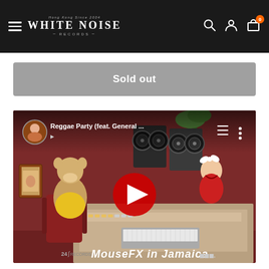White Noise Records
Sold out
[Figure (screenshot): YouTube video thumbnail for 'Reggae Party (feat. General ...)' showing an animated cartoon scene with characters in a recording studio. 'MouseFX in Jamaica' text visible at bottom. Red YouTube play button in center.]